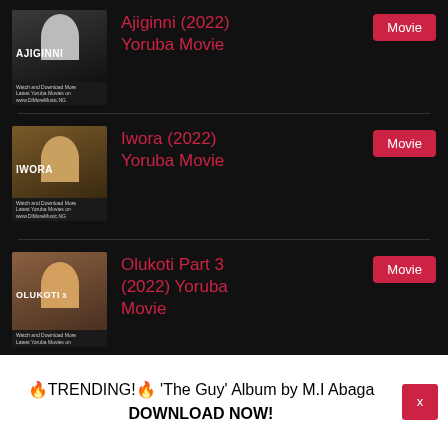Ajiginni (2022) Yoruba Movie
Iwora (2022) Yoruba Movie
Olukoti Part 3 (2022) Yoruba Movie
🔥TRENDING!🔥 'The Guy' Album by M.I Abaga DOWNLOAD NOW!